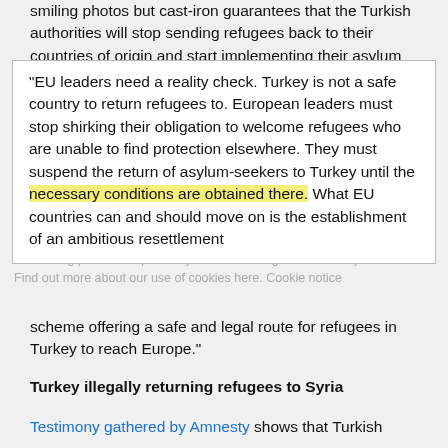smiling photos but cast-iron guarantees that the Turkish authorities will stop sending refugees back to their countries of origin and start implementing their asylum laws effectively.
"EU leaders need a reality check. Turkey is not a safe country to return refugees to. European leaders must stop shirking their obligation to welcome refugees who are unable to find protection elsewhere. They must suspend the return of asylum-seekers to Turkey until the necessary conditions are obtained there. What EU countries can and should move on is the establishment of an ambitious resettlement scheme offering a safe and legal route for refugees in Turkey to reach Europe."
Turkey illegally returning refugees to Syria
Testimony gathered by Amnesty shows that Turkish